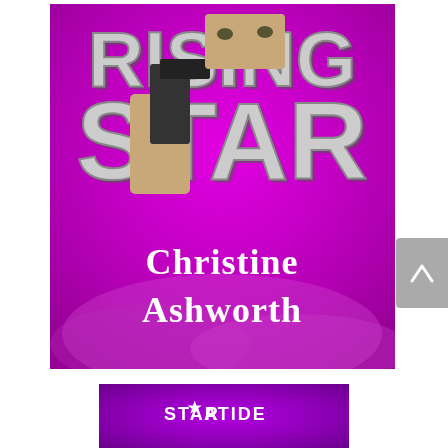[Figure (illustration): Book cover for 'Rising Star' by Christine Ashworth. Bright magenta/purple background with large bold grey letters spelling 'RISING STAR'. A person holding a gun is partially visible through the lettering. Author name 'Christine Ashworth' appears in white text at the bottom of the cover.]
[Figure (illustration): Partial view of another book cover at the bottom of the page. Purple background with text 'STARATIDE' visible.]